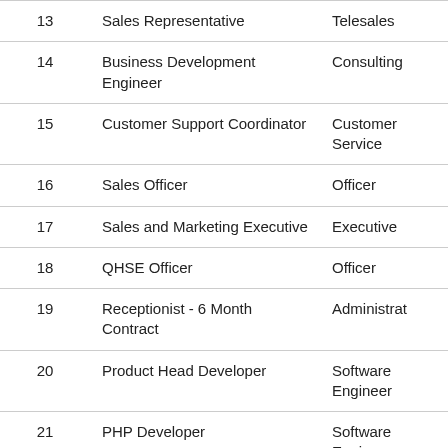| # | Job Title | Category |
| --- | --- | --- |
| 13 | Sales Representative | Telesales |
| 14 | Business Development Engineer | Consulting |
| 15 | Customer Support Coordinator | Customer Service |
| 16 | Sales Officer | Officer |
| 17 | Sales and Marketing Executive | Executive |
| 18 | QHSE Officer | Officer |
| 19 | Receptionist - 6 Month Contract | Administrat |
| 20 | Product Head Developer | Software Engineer |
| 21 | PHP Developer | Software Engineer |
| 22 | Office Administrator - Female | Administrat |
| 23 | CRM Administrator (Zoho Specialist) | Software Engineer |
| 24 | Human Resources Assistant | HR |